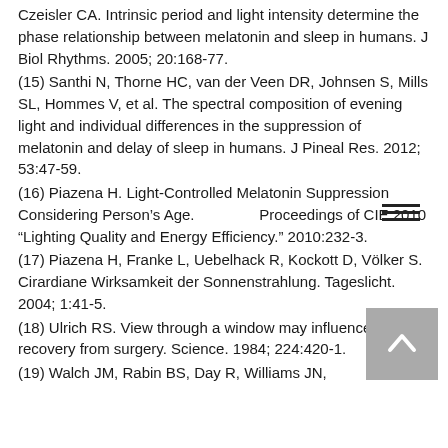Czeisler CA. Intrinsic period and light intensity determine the phase relationship between melatonin and sleep in humans. J Biol Rhythms. 2005; 20:168-77.
(15) Santhi N, Thorne HC, van der Veen DR, Johnsen S, Mills SL, Hommes V, et al. The spectral composition of evening light and individual differences in the suppression of melatonin and delay of sleep in humans. J Pineal Res. 2012; 53:47-59.
(16) Piazena H. Light-Controlled Melatonin Suppression Considering Person's Age. Proceedings of CIE 2010 "Lighting Quality and Energy Efficiency." 2010:232-3.
(17) Piazena H, Franke L, Uebelhack R, Kockott D, Völker S. Cirardiane Wirksamkeit der Sonnenstrahlung. Tageslicht. 2004; 1:41-5.
(18) Ulrich RS. View through a window may influence recovery from surgery. Science. 1984; 224:420-1.
(19) Walch JM, Rabin BS, Day R, Williams JN,